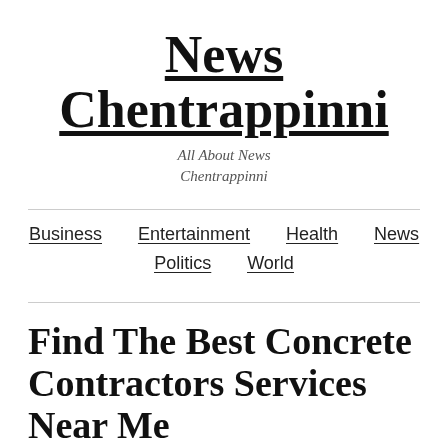News Chentrappinni
All About News Chentrappinni
Business   Entertainment   Health   News   Politics   World
Find The Best Concrete Contractors Services Near Me
May 28